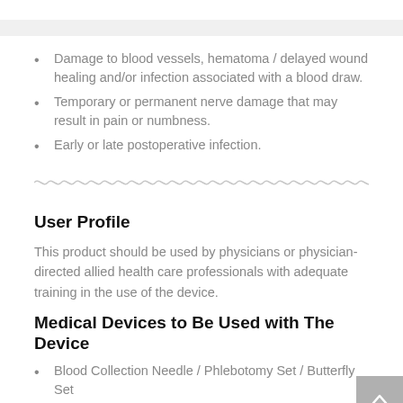Possible Adverse Events
Damage to blood vessels, hematoma / delayed wound healing and/or infection associated with a blood draw.
Temporary or permanent nerve damage that may result in pain or numbness.
Early or late postoperative infection.
[Figure (other): Wavy horizontal divider line in light gray]
User Profile
This product should be used by physicians or physician-directed allied health care professionals with adequate training in the use of the device.
Medical Devices to Be Used with The Device
Blood Collection Needle / Phlebotomy Set / Butterfly Set